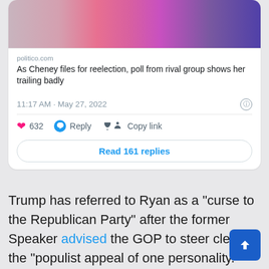[Figure (screenshot): Tweet card screenshot showing a Politico link preview with image of women at a podium, timestamp 11:17 AM · May 27, 2022, 632 likes, Reply and Copy link actions, and a Read 161 replies button]
Trump has referred to Ryan as a “curse to the Republican Party” after the former Speaker advised the GOP to steer clear of the “populist appeal of one personality.”
Paul Ryan also overdramatized the